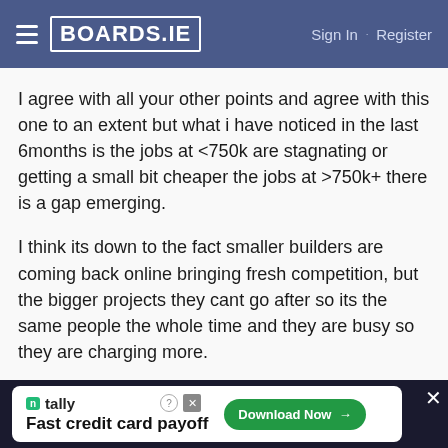BOARDS.IE  Sign In · Register
I agree with all your other points and agree with this one to an extent but what i have noticed in the last 6months is the jobs at <750k are stagnating or getting a small bit cheaper the jobs at >750k+ there is a gap emerging.
I think its down to the fact smaller builders are coming back online bringing fresh competition, but the bigger projects they cant go after so its the same people the whole time and they are busy so they are charging more.
kkelliher
Moderators, Home & Garden Moderators
[Figure (screenshot): Advertisement banner for Tally app: Fast credit card payoff, Download Now button]